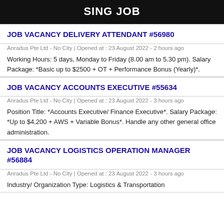SING JOB
JOB VACANCY DELIVERY ATTENDANT #56980
Anradus Pte Ltd - No City | Opened at : 23 August 2022 - 2 hours ago
Working Hours: 5 days, Monday to Friday (8.00 am to 5.30 pm). Salary Package: *Basic up to $2500 + OT + Performance Bonus (Yearly)*.
JOB VACANCY ACCOUNTS EXECUTIVE #55634
Anradus Pte Ltd - No City | Opened at : 23 August 2022 - 3 hours ago
Position Title: *Accounts Executive/ Finance Executive*. Salary Package: *Up to $4,200 + AWS + Variable Bonus*. Handle any other general office administration.
JOB VACANCY LOGISTICS OPERATION MANAGER #56884
Anradus Pte Ltd - No City | Opened at : 23 August 2022 - 3 hours ago
Industry/ Organization Type: Logistics & Transportation